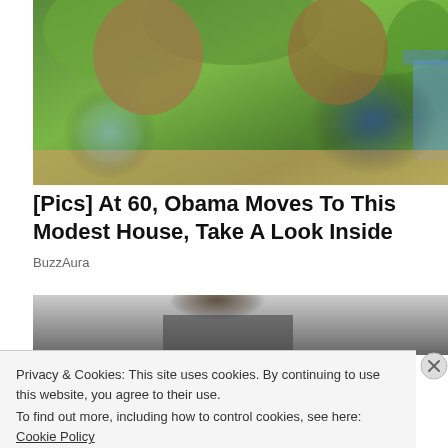[Figure (photo): Two people posing outdoors for a photo in front of green trees and foliage. The man on the left wears a blue checked shirt and sunglasses; the woman on the right wears a blue top and large round sunglasses.]
[Pics] At 60, Obama Moves To This Modest House, Take A Look Inside
BuzzAura
[Figure (photo): Partial view of a second article image showing a person in dark clothing against a light background.]
Privacy & Cookies: This site uses cookies. By continuing to use this website, you agree to their use.
To find out more, including how to control cookies, see here: Cookie Policy
Close and accept